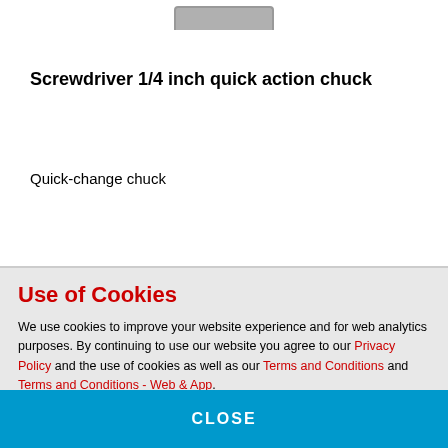[Figure (illustration): Partial view of a screwdriver product image placeholder at top of page]
Screwdriver 1/4 inch quick action chuck
Quick-change chuck
Use of Cookies
We use cookies to improve your website experience and for web analytics purposes. By continuing to use our website you agree to our Privacy Policy and the use of cookies as well as our Terms and Conditions and Terms and Conditions - Web & App.
CLOSE